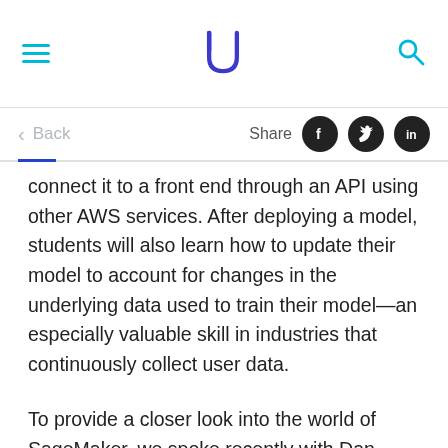Udacity logo with hamburger menu and search icon
Back   Share
connect it to a front end through an API using other AWS services. After deploying a model, students will also learn how to update their model to account for changes in the underlying data used to train their model—an especially valuable skill in industries that continuously collect user data.
To provide a closer look into the world of SageMaker, we spoke recently with Dan Romuald Mbanga, Global Lead of Business Development for Amazon AI, and a leader of business and technical